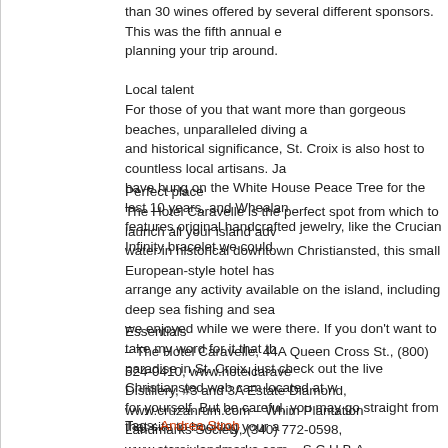than 30 wines offered by several different sponsors. This was the fifth annual e planning your trip around.
Local talent
For those of you that want more than gorgeous beaches, unparalleled diving a and historical significance, St. Croix is also host to countless local artisans. Ja have hung on the White House Peace Tree for the last 10 years, and Whealan features original handcrafted jewelry, like the Crucian Infinity bracelet we could
Perfect place
The Hotel Caravelle is the perfect spot from which to launch all your island adv water in historical downtown Christiansted, this small European-style hotel has arrange any activity available on the island, including deep sea fishing and sea we enjoyed while we were there. If you don't want to take my word for it that th paradise in St. Croix, just check out the live Christiansted web cam located at w for yourself. But be careful, you may go straight from that site to booking your a
Essentials
– The Hotel Caravelle, 44A Queen Cross St., (800) 524-0410, www.hotelcarave Distillery, #3 and 3A Estate Diamond, www.cruzanrum.com – Whim Plantation Landmarks Society, (340) 772-0598, www.stcroixlandmarks.com – S.C.U.B.A., 567-1367, www.stcroixscuba.com
Tags: Andrea Stroh